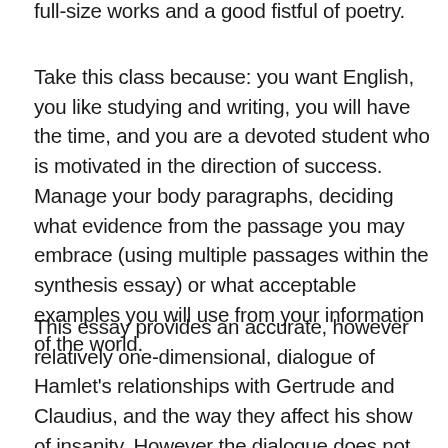full-size works and a good fistful of poetry.
Take this class because: you want English, you like studying and writing, you will have the time, and you are a devoted student who is motivated in the direction of success. Manage your body paragraphs, deciding what evidence from the passage you may embrace (using multiple passages within the synthesis essay) or what acceptable examples you will use from your information of the world.
This essay provides an accurate, however relatively one-dimensional, dialogue of Hamlet's relationships with Gertrude and Claudius, and the way they affect his show of insanity. However the dialogue does not go deeper than some properly